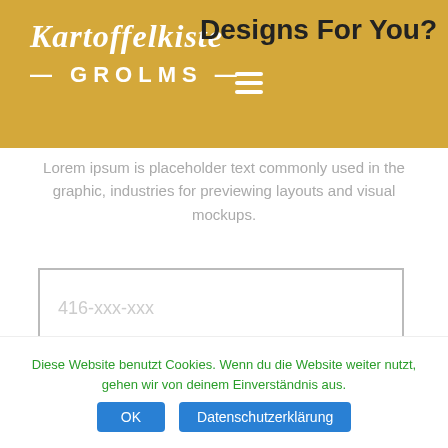Kartoffelkiste — GROLMS —
Designs For You?
Lorem ipsum is placeholder text commonly used in the graphic, industries for previewing layouts and visual mockups.
[Figure (screenshot): Phone number input field with placeholder text '416-xxx-xxx']
[Figure (screenshot): Black 'Call me' button]
Diese Website benutzt Cookies. Wenn du die Website weiter nutzt, gehen wir von deinem Einverständnis aus.
OK | Datenschutzerklärung